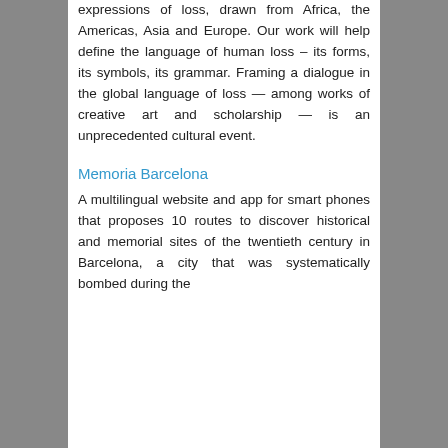expressions of loss, drawn from Africa, the Americas, Asia and Europe. Our work will help define the language of human loss – its forms, its symbols, its grammar. Framing a dialogue in the global language of loss — among works of creative art and scholarship — is an unprecedented cultural event.
Memoria Barcelona
A multilingual website and app for smart phones that proposes 10 routes to discover historical and memorial sites of the twentieth century in Barcelona, a city that was systematically bombed during the